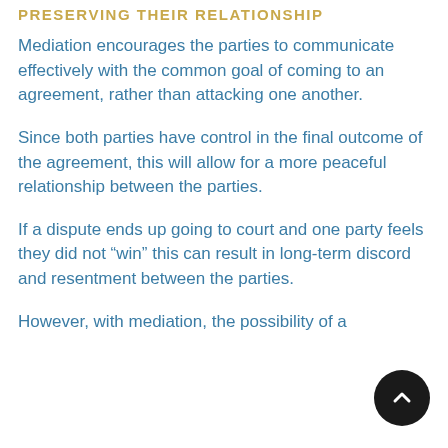PRESERVING THEIR RELATIONSHIP
Mediation encourages the parties to communicate effectively with the common goal of coming to an agreement, rather than attacking one another.
Since both parties have control in the final outcome of the agreement, this will allow for a more peaceful relationship between the parties.
If a dispute ends up going to court and one party feels they did not “win” this can result in long-term discord and resentment between the parties.
However, with mediation, the possibility of a